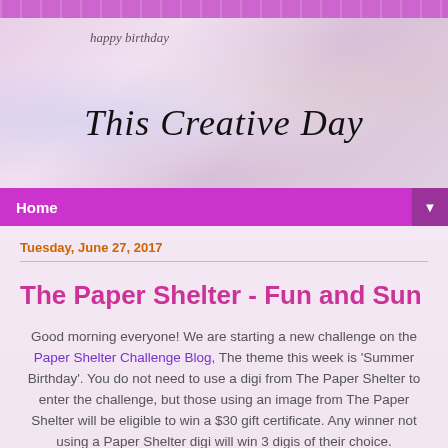[Figure (illustration): Blog header banner with illustrated fairy/angel figure holding flowers, 'happy birthday' text, and decorative background with bokeh circles. Title reads 'This Creative Day' in large italic script.]
Home ▼
Tuesday, June 27, 2017
The Paper Shelter - Fun and Sun
Good morning everyone!  We are starting a new challenge on the Paper Shelter Challenge Blog,  The theme this week is 'Summer Birthday'. You do not need to use a digi from The Paper Shelter to enter the challenge, but those using an image from The Paper Shelter will be eligible to win a $30 gift certificate.  Any winner not using a Paper Shelter digi will win 3 digis of their choice.